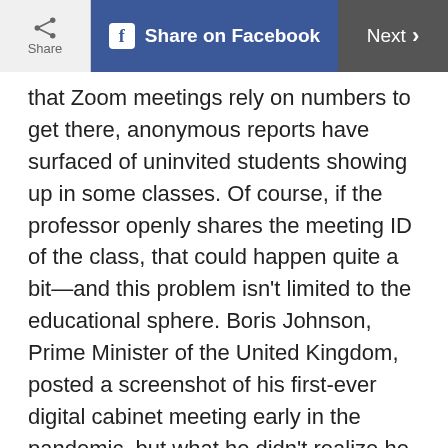Share | Share on Facebook | Next
that Zoom meetings rely on numbers to get there, anonymous reports have surfaced of uninvited students showing up in some classes. Of course, if the professor openly shares the meeting ID of the class, that could happen quite a bit—and this problem isn't limited to the educational sphere. Boris Johnson, Prime Minister of the United Kingdom, posted a screenshot of his first-ever digital cabinet meeting early in the pandemic, but what he didn't realize he was doing was sharing that meeting number with the public. Hopefully, your professor is a bit more tech-savvy and keeps your class a little more on the private side! Learn these 20 words so you can sound more tech-savvy.